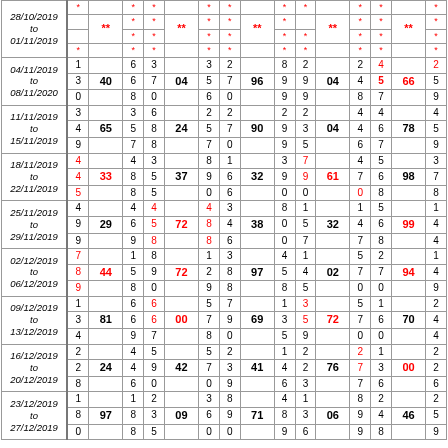| Date | Col1 | Col2 | Col3a | Col3b | Col4 | Col5a | Col5b | Col6 | Col7a | Col7b | Col8 | Col9a | Col9b | Col10 | Col11 |
| --- | --- | --- | --- | --- | --- | --- | --- | --- | --- | --- | --- | --- | --- | --- | --- |
| 28/10/2019 to 01/11/2019 | * * * * | ** | * * * * | * * | ** | * * * * | ** | * * | ** | * * | ** | * * * * | * * | ** | * |
| 04/11/2019 to 08/11/2020 | 1 3 0 | 40 | 6 6 8 0 | 3 2 | 04 | 3 2 5 7 6 0 | 96 | 8 2 9 9 9 9 | 04 | 2 4 4 5 8 7 | 66 | 2 5 9 |
| 11/11/2019 to 15/11/2019 | 3 4 9 | 65 | 3 6 5 8 7 8 | 2 2 | 24 | 2 5 7 0 | 90 | 2 2 9 3 9 5 | 04 | 4 4 4 6 6 7 | 78 | 4 5 9 |
| 18/11/2019 to 22/11/2019 | 4 4 5 | 33 | 4 3 8 5 8 5 | 8 1 | 37 | 9 6 0 6 | 32 | 3 7 9 9 0 0 | 61 | 4 5 7 6 0 8 | 98 | 3 7 8 |
| 25/11/2019 to 29/11/2019 | 4 9 9 | 29 | 4 4 6 5 9 8 | 4 3 | 72 | 8 4 8 6 | 38 | 8 1 0 5 0 7 | 32 | 1 5 4 6 7 8 | 99 | 1 4 4 |
| 02/12/2019 to 06/12/2019 | 7 8 9 | 44 | 1 8 5 9 8 0 | 1 3 | 72 | 2 8 9 8 | 97 | 4 1 5 4 8 5 | 02 | 5 2 7 7 0 0 | 94 | 1 4 9 |
| 09/12/2019 to 13/12/2019 | 1 3 4 | 81 | 6 6 6 6 9 7 | 5 7 | 00 | 7 9 8 0 | 69 | 1 3 3 5 5 9 | 72 | 5 1 7 6 0 0 | 70 | 2 4 4 |
| 16/12/2019 to 20/12/2019 | 2 2 8 | 24 | 4 5 4 9 6 0 | 5 2 | 42 | 7 3 0 9 | 41 | 1 2 4 2 6 3 | 76 | 2 1 7 3 7 6 | 00 | 2 2 6 |
| 23/12/2019 to 27/12/2019 | 1 8 0 | 97 | 1 2 8 3 8 5 | 3 8 | 09 | 6 9 0 0 | 71 | 4 1 8 3 9 6 | 06 | 8 2 9 4 9 8 | 46 | 2 5 9 |